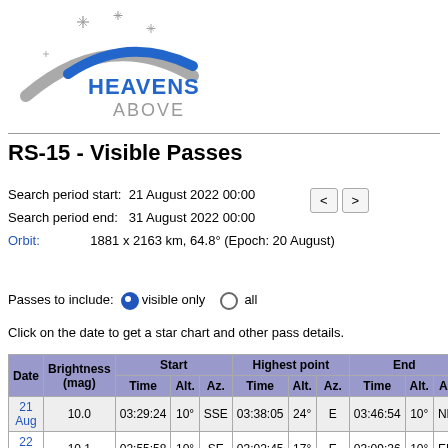[Figure (logo): Heavens Above logo with arc and stars]
RS-15 - Visible Passes
Search period start: 21 August 2022 00:00
Search period end: 31 August 2022 00:00
Orbit: 1881 x 2163 km, 64.8° (Epoch: 20 August)
Passes to include: ● visible only ○ all
Click on the date to get a star chart and other pass details.
| Date | Brightness (mag) | Start Time | Start Alt. | Start Az. | Highest point Time | Highest point Alt. | Highest point Az. | End Time | End Alt. | End Az. |
| --- | --- | --- | --- | --- | --- | --- | --- | --- | --- | --- |
| 21 Aug | 10.0 | 03:29:24 | 10° | SSE | 03:38:05 | 24° | E | 03:46:54 | 10° | NE |
| 22 Aug | 10.1 | 02:55:58 | 10° | SE | 03:02:45 | 17° | E | 03:09:36 | 10° | EN |
| 23 Aug | 10.4 | 02:24:24 | 10° | ESE | 02:27:33 | 11° | E | 02:30:42 | 10° | EN |
| 24 Aug | 9.3 | 03:50:16 | 10° | S | 04:01:10 | 43° | ESE | 04:12:22 | 10° | NE |
| 25 Aug | 9.6 | 03:15:29 | 10° | SSE | 03:25:34 | 34° | ESE | 03:35:53 | 10° | NE |
| 26 Aug | 9.9 | 02:41:13 | 10° | SSE | 02:50:06 | 25° | E | 02:59:09 | 10° | N |